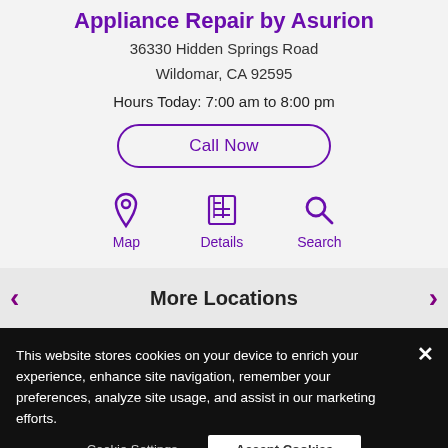Appliance Repair by Asurion
36330 Hidden Springs Road
Wildomar, CA 92595
Hours Today: 7:00 am to 8:00 pm
Call Now
[Figure (infographic): Three purple icons in a row: Map (location pin), Details (newspaper/list), Search (magnifying glass) with labels underneath each icon]
More Locations
This website stores cookies on your device to enrich your experience, enhance site navigation, remember your preferences, analyze site usage, and assist in our marketing efforts.
Cookie Settings
Accept Cookies